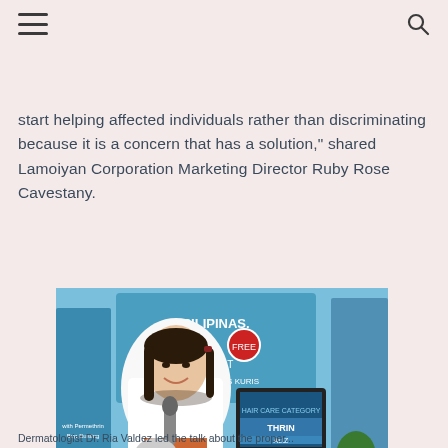[navigation bar with hamburger menu and search icon]
start helping affected individuals rather than discriminating because it is a concern that has a solution," shared Lamoiyan Corporation Marketing Director Ruby Rose Cavestany.
[Figure (photo): A woman in a white coat holding a microphone at an outdoor event. Behind her are banners that read 'Pilipinas [Lice]-Free' and branded roll-up displays. A TV monitor and wooden tables are visible in the background.]
Dermatologist Dr. Ria Valdez led the talk about the proper...